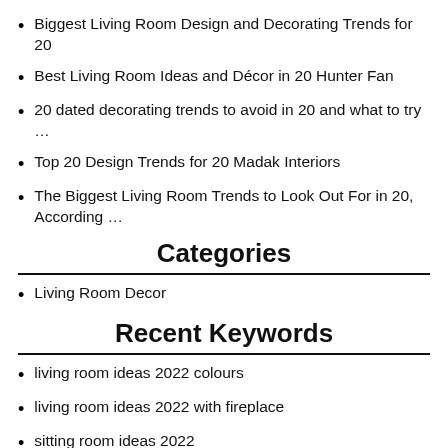Biggest Living Room Design and Decorating Trends for 20
Best Living Room Ideas and Décor in 20 Hunter Fan
20 dated decorating trends to avoid in 20 and what to try …
Top 20 Design Trends for 20 Madak Interiors
The Biggest Living Room Trends to Look Out For in 20, According …
Categories
Living Room Decor
Recent Keywords
living room ideas 2022 colours
living room ideas 2022 with fireplace
sitting room ideas 2022